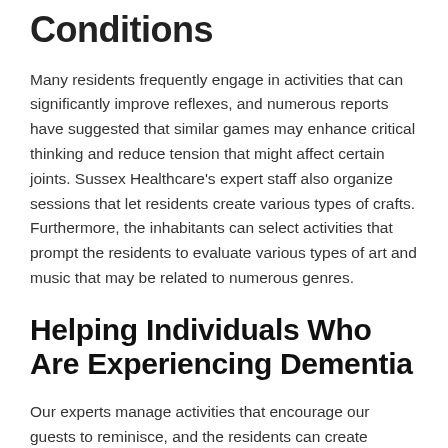Conditions
Many residents frequently engage in activities that can significantly improve reflexes, and numerous reports have suggested that similar games may enhance critical thinking and reduce tension that might affect certain joints. Sussex Healthcare's expert staff also organize sessions that let residents create various types of crafts. Furthermore, the inhabitants can select activities that prompt the residents to evaluate various types of art and music that may be related to numerous genres.
Helping Individuals Who Are Experiencing Dementia
Our experts manage activities that encourage our guests to reminisce, and the residents can create descriptions of